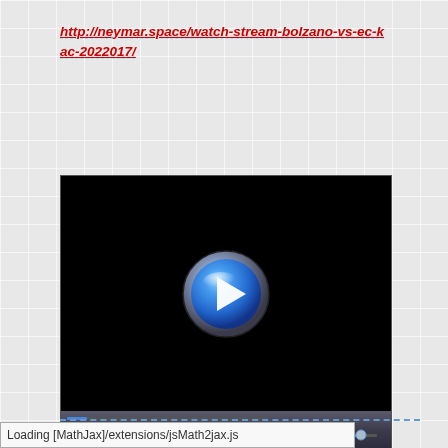http://neymar.space/watch-stream-bolzano-vs-ec-kac-2022017/
[Figure (screenshot): Video player with black screen showing a blue play button in the center, and a dark media controls bar at the bottom with play, pause, skip, rewind, fast-forward, and volume controls.]
Loading [MathJax]/extensions/jsMath2jax.js